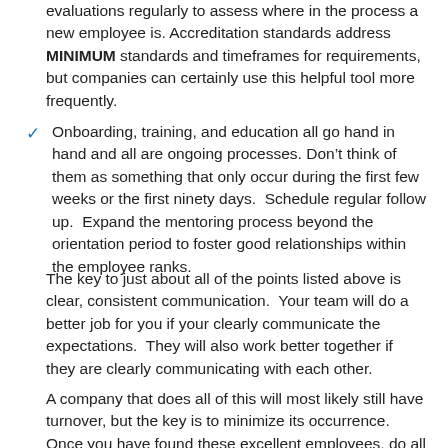evaluations regularly to assess where in the process a new employee is. Accreditation standards address MINIMUM standards and timeframes for requirements, but companies can certainly use this helpful tool more frequently.
Onboarding, training, and education all go hand in hand and all are ongoing processes. Don't think of them as something that only occur during the first few weeks or the first ninety days.  Schedule regular follow up.  Expand the mentoring process beyond the orientation period to foster good relationships within the employee ranks.
The key to just about all of the points listed above is clear, consistent communication.  Your team will do a better job for you if your clearly communicate the expectations.  They will also work better together if they are clearly communicating with each other.
A company that does all of this will most likely still have turnover, but the key is to minimize its occurrence.  Once you have found these excellent employees, do all you can to hold